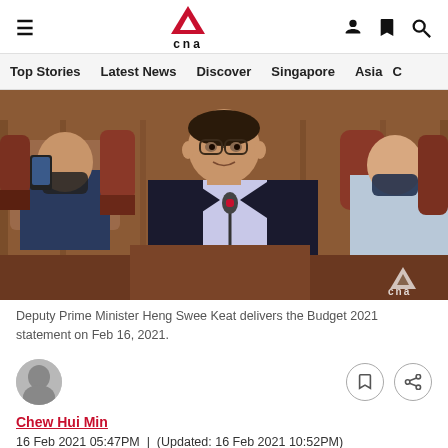CNA
Top Stories  Latest News  Discover  Singapore  Asia  C
[Figure (photo): Deputy Prime Minister Heng Swee Keat speaking at a podium in parliament, wearing a dark suit, with other attendees visible including a man in a mask taking a photo with a smartphone in the background.]
Deputy Prime Minister Heng Swee Keat delivers the Budget 2021 statement on Feb 16, 2021.
Chew Hui Min
16 Feb 2021 05:47PM  |  (Updated: 16 Feb 2021 10:52PM)